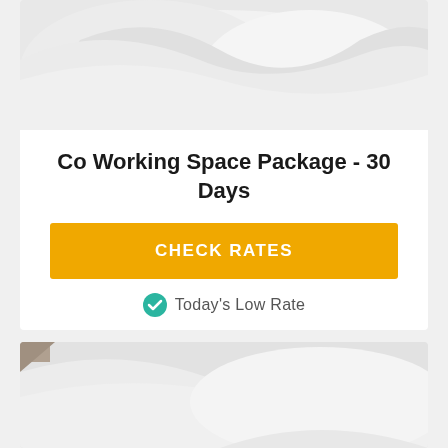[Figure (photo): White hotel pillow/bedding photo, top card]
Co Working Space Package - 30 Days
CHECK RATES
Today's Low Rate
Room amenities, details, and policies
[Figure (photo): White hotel pillow/bedding photo, bottom card]